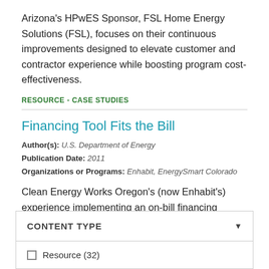Arizona's HPwES Sponsor, FSL Home Energy Solutions (FSL), focuses on their continuous improvements designed to elevate customer and contractor experience while boosting program cost-effectiveness.
RESOURCE - CASE STUDIES
Financing Tool Fits the Bill
Author(s): U.S. Department of Energy
Publication Date: 2011
Organizations or Programs: Enhabit, EnergySmart Colorado
Clean Energy Works Oregon's (now Enhabit's) experience implementing an on-bill financing program.
RESOURCE - CASE STUDIES
CONTENT TYPE
Resource (32)